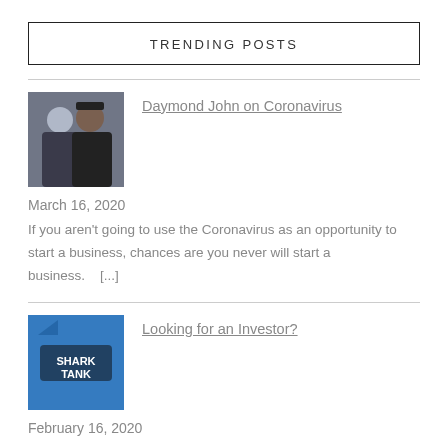TRENDING POSTS
[Figure (photo): Two men posing for a photo, one wearing a NY Yankees cap]
Daymond John on Coronavirus
March 16, 2020
If you aren't going to use the Coronavirus as an opportunity to start a business, chances are you never will start a business.    [...]
[Figure (photo): Shark Tank logo on blue background]
Looking for an Investor?
February 16, 2020